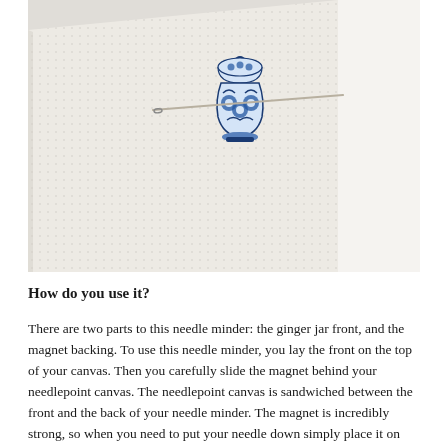[Figure (photo): Photo of a needlepoint canvas with a blue and white ginger jar needle minder sitting on top, with a sewing needle laid across the front of the needle minder. The canvas shows a white grid texture.]
How do you use it?
There are two parts to this needle minder: the ginger jar front, and the magnet backing. To use this needle minder, you lay the front on the top of your canvas. Then you carefully slide the magnet behind your needlepoint canvas. The needlepoint canvas is sandwiched between the front and the back of your needle minder. The magnet is incredibly strong, so when you need to put your needle down simply place it on the front of the needle minder. The magnet on the back is strong enough to hold your needle on the front of the canvas.